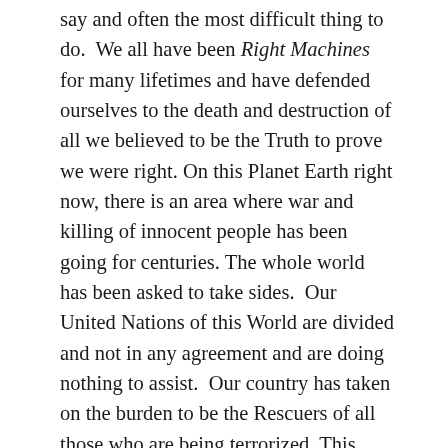say and often the most difficult thing to do. We all have been Right Machines for many lifetimes and have defended ourselves to the death and destruction of all we believed to be the Truth to prove we were right. On this Planet Earth right now, there is an area where war and killing of innocent people has been going for centuries. The whole world has been asked to take sides. Our United Nations of this World are divided and not in any agreement and are doing nothing to assist. Our country has taken on the burden to be the Rescuers of all those who are being terrorized. This burden is heavy. Why US? Because the USA thinks we must take over control of the world to make it live under our own ways and standards? Would we as a nation benefit truly from this actuality? Are Americans fighting a war in the instigator's country rather than our own in order to protect our way of life? Just who is gaining from this war? It doesn't take too many brains to answer these questions. The answers usually depend a lot on your